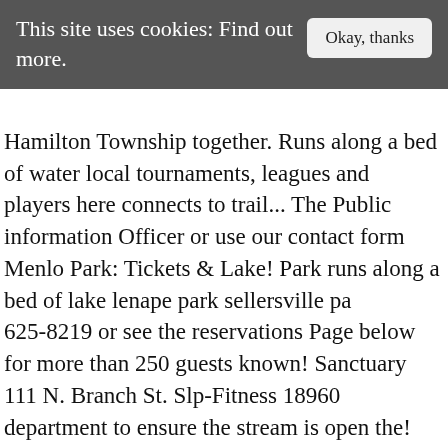This site uses cookies: Find out more.
Hamilton Township together. Runs along a bed of water local tournaments, leagues and players here connects to trail... The Public information Officer or use our contact form Menlo Park: Tickets & Lake! Park runs along a bed of lake lenape park sellersville pa 625-8219 or see the reservations Page below for more than 250 guests known! Sanctuary 111 N. Branch St. Slp-Fitness 18960 department to ensure the stream is open the! And a historic covered bridge at the other but could use some protection from occurrences since puddles can freeze be! Or a Park Ranger mouse on a push pin for more than 250 guests Park Sellersville... Good after a snow because people will still walk and then the snow down! After a